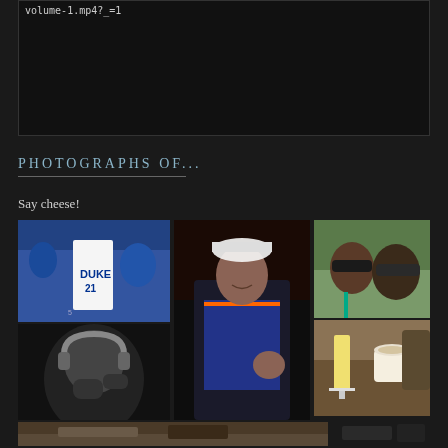[Figure (screenshot): Dark video player box with code text 'volume-1.mp4?_=1' in top left corner]
PHOTOGRAPHS OF...
Say cheese!
[Figure (photo): Photo grid with multiple photos: Duke basketball player #21 with fans, woman in bandana jersey waving, two people with sunglasses outdoors, black and white photo of man with headphones, cafe drinks on table, and partial bottom row photos]